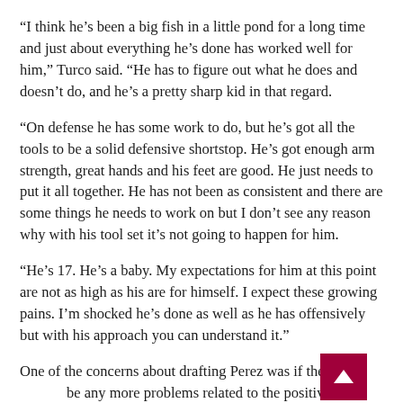“I think he’s been a big fish in a little pond for a long time and just about everything he’s done has worked well for him,” Turco said. “He has to figure out what he does and doesn’t do, and he’s a pretty sharp kid in that regard.
“On defense he has some work to do, but he’s got all the tools to be a solid defensive shortstop. He’s got enough arm strength, great hands and his feet are good. He just needs to put it all together. He has not been as consistent and there are some things he needs to work on but I don’t see any reason why with his tool set it’s not going to happen for him.
“He’s 17. He’s a baby. My expectations for him at this point are not as high as his are for himself. I expect these growing pains. I’m shocked he’s done as well as he has offensively but with his approach you can understand it.”
One of the concerns about drafting Perez was if there w be any more problems related to the positive PED test. point the answer is no. Perez has been tested twice, Turco